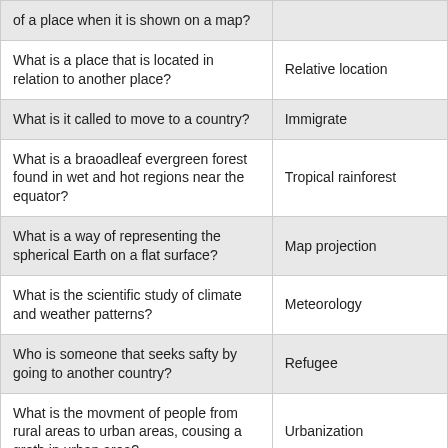| Question | Answer |
| --- | --- |
| of a place when it is shown on a map? |  |
| What is a place that is located in relation to another place? | Relative location |
| What is it called to move to a country? | Immigrate |
| What is a braoadleaf evergreen forest found in wet and hot regions near the equator? | Tropical rainforest |
| What is a way of representing the spherical Earth on a flat surface? | Map projection |
| What is the scientific study of climate and weather patterns? | Meteorology |
| Who is someone that seeks safty by going to another country? | Refugee |
| What is the movment of people from rural areas to urban areas, cousing a groth in urban area? | Urbanization |
| What is something that encourages people to leave a place behind? | Push factor |
| What is a community of all the living things in an area and the enviorment in which they | Ecosystem |